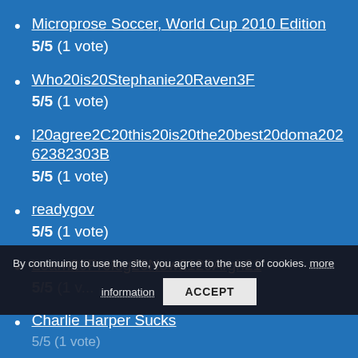Microprose Soccer, World Cup 2010 Edition
5/5 (1 vote)
Who20is20Stephanie20Raven3F
5/5 (1 vote)
I20agree2C20this20is20the20best20doma2026238 2303B
5/5 (1 vote)
readygov
5/5 (1 vote)
Learn20Prolog20Now2120Argh21
5/5 (1 vote)
Charlie Harper Sucks
5/5 (1 vote)
By continuing to use the site, you agree to the use of cookies. more information
ACCEPT